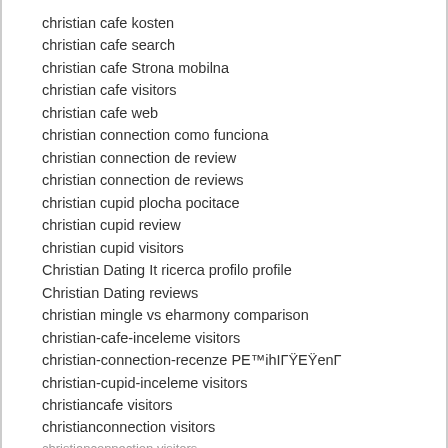christian cafe kosten
christian cafe search
christian cafe Strona mobilna
christian cafe visitors
christian cafe web
christian connection como funciona
christian connection de review
christian connection de reviews
christian cupid plocha pocitace
christian cupid review
christian cupid visitors
Christian Dating It ricerca profilo profile
Christian Dating reviews
christian mingle vs eharmony comparison
christian-cafe-inceleme visitors
christian-connection-recenze PE™ihIGYEYenI
christian-cupid-inceleme visitors
christiancafe visitors
christianconnection visitors
christianconnection visitors